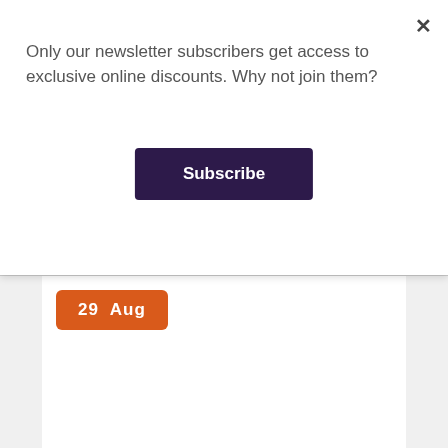Only our newsletter subscribers get access to exclusive online discounts. Why not join them?
Subscribe
29  Aug